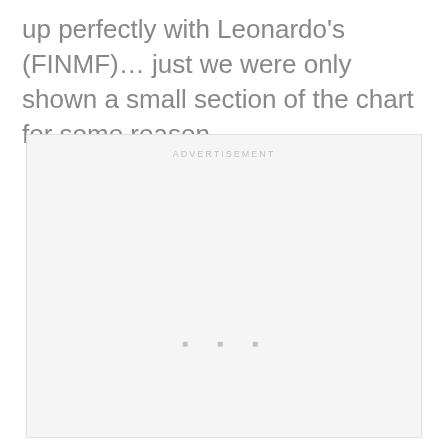up perfectly with Leonardo's (FINMF)… just we were only shown a small section of the chart for some reason…
[Figure (other): Advertisement placeholder box with 'ADVERTISEMENT' label at top and three small square dots in the lower-center area]